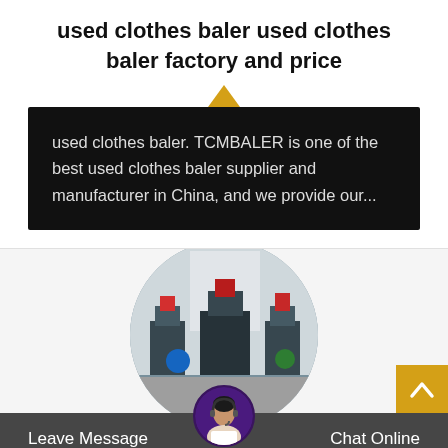used clothes baler used clothes baler factory and price
used clothes baler. TCMBALER is one of the best used clothes baler supplier and manufacturer in China, and we provide our...
[Figure (photo): Circular photo of industrial baler machines on a factory floor]
[Figure (photo): Chat avatar of a customer service representative with headset]
Leave Message    Chat Online